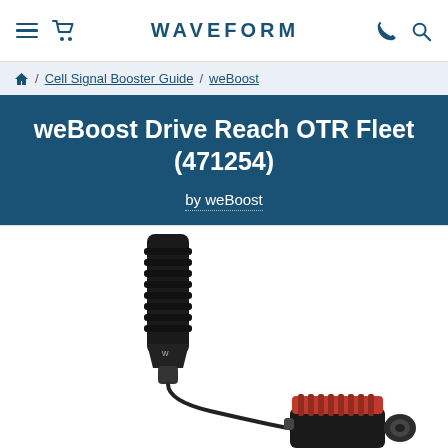WAVEFORM
Home / Cell Signal Booster Guide / weBoost
weBoost Drive Reach OTR Fleet (471254)
by weBoost
[Figure (photo): Product photo of weBoost Drive Reach OTR Fleet cell signal booster showing a black cylindrical antenna and a red/black booster unit with weBoost logo]